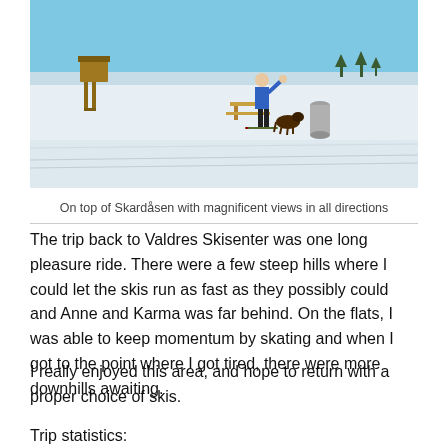[Figure (photo): Person in blue jacket standing on skis at the top of Skardåsen, a snowy plateau with a wooden lookout tower on the left, a picnic table, a dog, and a cylindrical metal canister. Clear blue sky and wide open snowy landscape in all directions.]
On top of Skardåsen with magnificent views in all directions
The trip back to Valdres Skisenter was one long pleasure ride. There were a few steep hills where I could let the skis run as fast as they possibly could and Anne and Karma was far behind. On the flats, I was able to keep momentum by skating and when I got to the point where I got tired, there were more downhills awaiting.
I really enjoyed this area, and hope to return with a proper choice of skis.
Trip statistics: